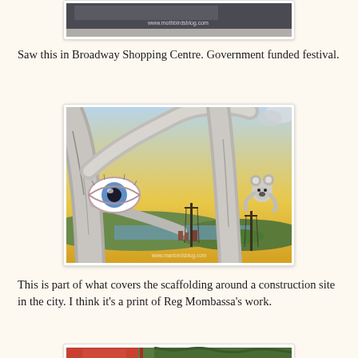[Figure (photo): Partial photo showing bottom portion of a laptop/computer screen with watermark text 'www.mothbirdsblog.com']
Saw this in Broadway Shopping Centre. Government funded festival.
[Figure (illustration): Colourful illustrated artwork showing a surreal eucalyptus tree with a large eye in its fork, a koala climbing the trunk, and a background landscape with telegraph poles, water, and a sunset sky. Watermark reads 'www.manbirdsblog.com'.]
This is part of what covers the scaffolding around a construction site in the city. I think it's a print of Reg Mombassa's work.
[Figure (photo): Partial photo visible at bottom of page showing the top of another outdoor scene with trees and what appears to be red structures.]